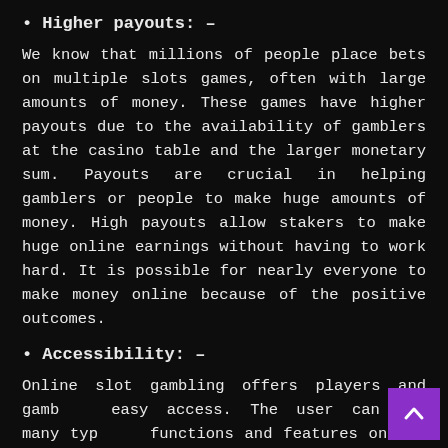Higher payouts: –
We know that millions of people place bets on multiple slots games, often with large amounts of money. These games have higher payouts due to the availability of gamblers at the casino table and the larger monetary sum. Payouts are crucial in helping gamblers or people to make huge amounts of money. High payouts allow stakers to make huge online earnings without having to work hard. It is possible for nearly everyone to make money online because of the positive outcomes.
Accessibility: –
Online slot gambling offers players and gamblers easy access. The user can see many types of functions and features on the screen. Each option